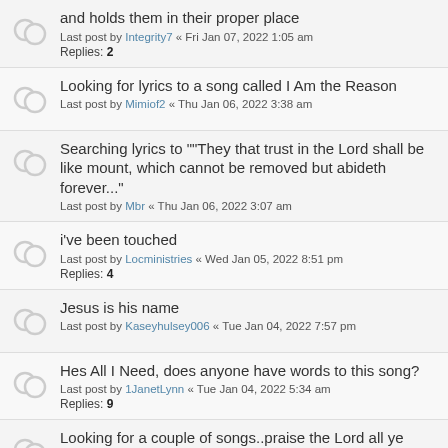and holds them in their proper place
Last post by Integrity7 « Fri Jan 07, 2022 1:05 am
Replies: 2
Looking for lyrics to a song called I Am the Reason
Last post by Mimiof2 « Thu Jan 06, 2022 3:38 am
Searching lyrics to ""They that trust in the Lord shall be like mount, which cannot be removed but abideth forever...""
Last post by Mbr « Thu Jan 06, 2022 3:07 am
i've been touched
Last post by Locministries « Wed Jan 05, 2022 8:51 pm
Replies: 4
Jesus is his name
Last post by Kaseyhulsey006 « Tue Jan 04, 2022 7:57 pm
Hes All I Need, does anyone have words to this song?
Last post by 1JanetLynn « Tue Jan 04, 2022 5:34 am
Replies: 9
Looking for a couple of songs..praise the Lord all ye nations...Christ in me
Last post by Susan « Mon Jan 03, 2022 1:31 pm
Replies: 6